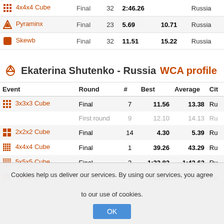| Event | Round | # | Best | Average | Cit |
| --- | --- | --- | --- | --- | --- |
| 4x4x4 Cube | Final | 32 | 2:46.26 |  | Russia |
| Pyraminx | Final | 23 | 5.69 | 10.71 | Russia |
| Skewb | Final | 32 | 11.51 | 15.22 | Russia |
Ekaterina Shutenko - Russia WCA profile
| Event | Round | # | Best | Average | Cit |
| --- | --- | --- | --- | --- | --- |
| 3x3x3 Cube | Final | 7 | 11.56 | 13.38 | Ru |
|  | First round | 9 | 12.10 | 14.13 | Ru |
| 2x2x2 Cube | Final | 14 | 4.30 | 5.39 | Ru |
| 4x4x4 Cube | Final | 1 | 39.26 | 43.29 | Ru |
| 5x5x5 Cube | Final | 3 | 1:23.83 | 1:42.62 | Ru |
| 6x6x6 Cube | Final | 7 | 3:14.28 | DNF | Ru |
Cookies help us deliver our services. By using our services, you agree to our use of cookies.